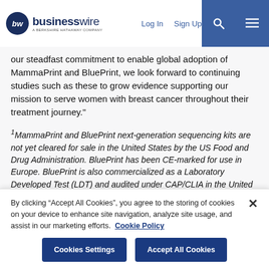businesswire — A Berkshire Hathaway Company | Log In | Sign Up
our steadfast commitment to enable global adoption of MammaPrint and BluePrint, we look forward to continuing studies such as these to grow evidence supporting our mission to serve women with breast cancer throughout their treatment journey."
1MammaPrint and BluePrint next-generation sequencing kits are not yet cleared for sale in the United States by the US Food and Drug Administration. BluePrint has been CE-marked for use in Europe. BluePrint is also commercialized as a Laboratory Developed Test (LDT) and audited under CAP/CLIA in the United States.
By clicking "Accept All Cookies", you agree to the storing of cookies on your device to enhance site navigation, analyze site usage, and assist in our marketing efforts. Cookie Policy
Cookies Settings | Accept All Cookies